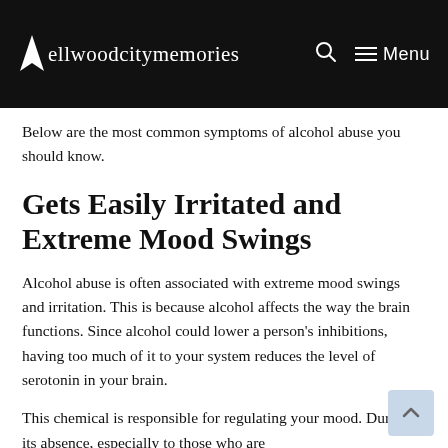ellwoodcitymemories — Menu
Below are the most common symptoms of alcohol abuse you should know.
Gets Easily Irritated and Extreme Mood Swings
Alcohol abuse is often associated with extreme mood swings and irritation. This is because alcohol affects the way the brain functions. Since alcohol could lower a person's inhibitions, having too much of it to your system reduces the level of serotonin in your brain.
This chemical is responsible for regulating your mood. During its absence, especially to those who are